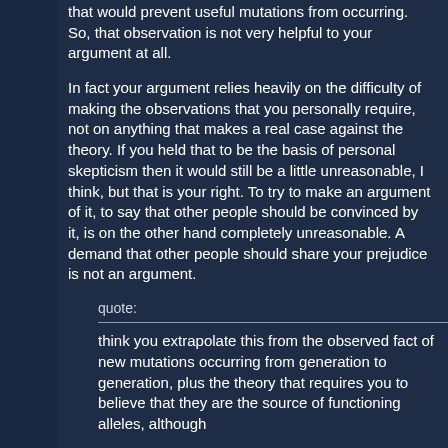that would prevent useful mutations from occurring. So, that observation is not very helpful to your argument at all.
In fact your argument relies heavily on the difficulty of making the observations that you personally require, not on anything that makes a real case against the theory. If you held that to be the basis of personal skepticism then it would still be a little unreasonable, I think, but that is your right. To try to make an argument of it, to say that other people should be convinced by it, is on the other hand completely unreasonable. A demand that other people should share your prejudice is not an argument.
quote:
think you extrapolate this from the observed fact of new mutations occurring from generation to generation, plus the theory that requires you to believe that they are the source of functioning alleles, although